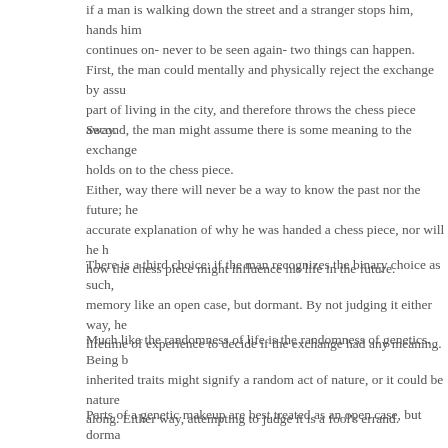if a man is walking down the street and a stranger stops him, hands him continues on- never to be seen again- two things can happen.
First, the man could mentally and physically reject the exchange by ass part of living in the city, and therefore throws the chess piece away.
Second, the man might assume there is some meaning to the exchange holds on to the chess piece.
Either, way there will never be a way to know the past nor the future; he accurate explanation of why he was handed a chess piece, nor will he h how the chess piece might influence his life in the future.
There is a third choice: if the man recognizes the binary choice as such, memory like an open case, but dormant. By not judging it either way, he lifetime of experience to decide if the exchange had any meaning.
Much like the randomness of life is the randomness of genetics. Being b inherited traits might signify a random act of nature, or it could be nature along. Either way, attempting to judge it is a fool's errand.
Parts of a genetic makeup are best treated as an open case, but dorma a grand meaning in your life, or maybe they are entirely random. Only a experience could you have the wisdom and introspection to judge how t impacted you.